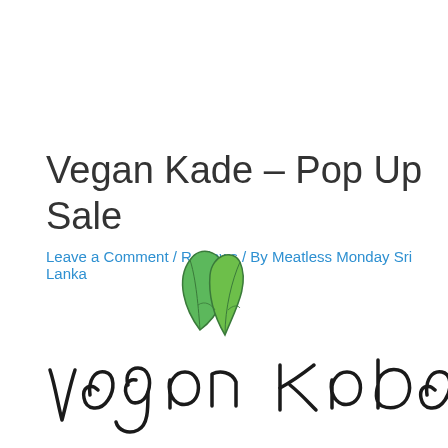Vegan Kade – Pop Up Sale
Leave a Comment / Reviews / By Meatless Monday Sri Lanka
[Figure (logo): Vegan Kade logo with stylized handwritten text and green leaf illustration at bottom of page]